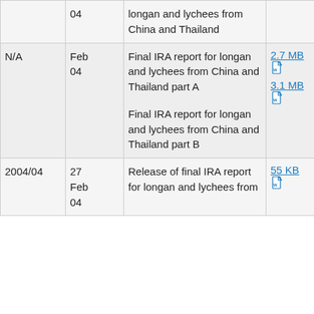|  | Date | Description | Word | PDF |
| --- | --- | --- | --- | --- |
|  | 04 | longan and lychees from China and Thailand |  | [pdf icon] |
| N/A | Feb 04 | Final IRA report for longan and lychees from China and Thailand part A

Final IRA report for longan and lychees from China and Thailand part B | 2.7 MB [w]
3.1 MB [w] | 563 KB [pdf]
921 KB [pdf] |
| 2004/04 | 27 Feb 04 | Release of final IRA report for longan and lychees from... | 55 KB [w] | 38 KB [pdf] |